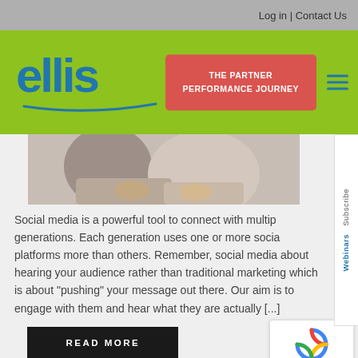Log in | Contact Us
[Figure (logo): Ellis company logo with blue text and green navigation bar, red 'THE PARTNER PERFORMANCE JOURNEY' button, and hamburger menu icon]
[Figure (photo): Cropped photo showing people with arms crossed, upper body/torso area visible]
Social media is a powerful tool to connect with multiple generations. Each generation uses one or more social platforms more than others. Remember, social media about hearing your audience rather than traditional marketing which is about "pushing" your message out there. Our aim is to engage with them and hear what they are actually [...]
READ MORE